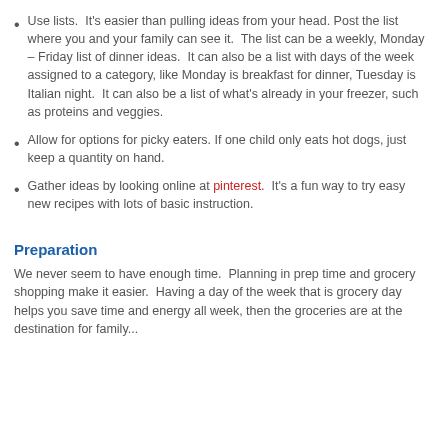Use lists.  It's easier than pulling ideas from your head.  Post the list where you and your family can see it.  The list can be a weekly, Monday – Friday list of dinner ideas.  It can also be a list with days of the week assigned to a category, like Monday is breakfast for dinner, Tuesday is Italian night.  It can also be a list of what's already in your freezer, such as proteins and veggies.
Allow for options for picky eaters. If one child only eats hot dogs, just keep a quantity on hand.
Gather ideas by looking online at pinterest.  It's a fun way to try easy new recipes with lots of basic instruction.
Preparation
We never seem to have enough time.  Planning in prep time and grocery shopping make it easier.  Having a day of the week that is grocery day helps you save time and energy all week, then the groceries are at the destination for family...